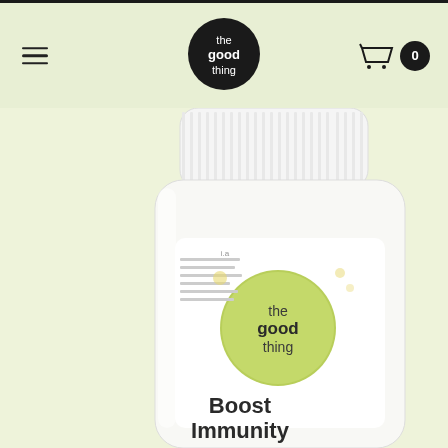the good thing — navigation header with hamburger menu and cart icon showing 0 items
[Figure (photo): Close-up product photo of 'the good thing' supplement bottle with white cap, clear/white plastic jar, green leaf logo label reading 'the good thing' and 'Boost Immunity' text, on a light yellow-green background. A small thumbnail image strip is partially visible on the left side.]